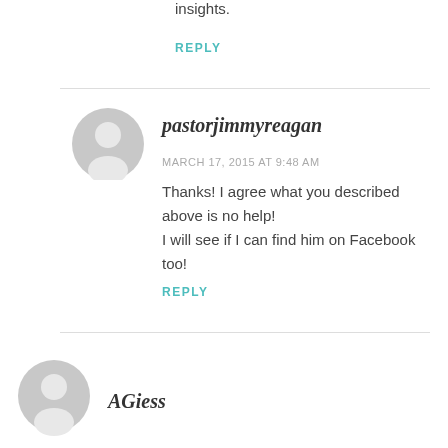insights.
REPLY
pastorjimmyreagan
MARCH 17, 2015 AT 9:48 AM
Thanks! I agree what you described above is no help!
I will see if I can find him on Facebook too!
REPLY
AGiess